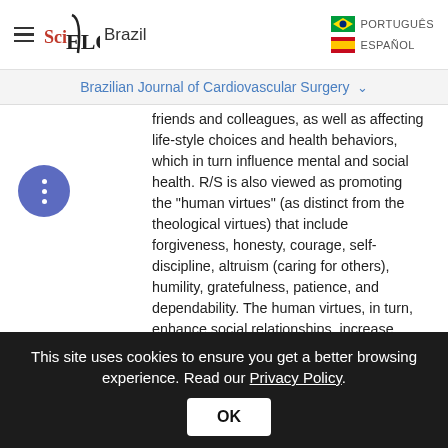SciELO Brazil | PORTUGUÊS | ESPAÑOL
Brazilian Journal of Cardiovascular Surgery
friends and colleagues, as well as affecting life-style choices and health behaviors, which in turn influence mental and social health. R/S is also viewed as promoting the "human virtues" (as distinct from the theological virtues) that include forgiveness, honesty, courage, self-discipline, altruism (caring for others), humility, gratefulness, patience, and dependability. The human virtues, in turn, enhance social relationships, increase positive emotions, and reduce negative emotions.
R/S has both "indirect" and "direct" effects on health outcomes. This includes the indirect effects
This site uses cookies to ensure you get a better browsing experience. Read our Privacy Policy.